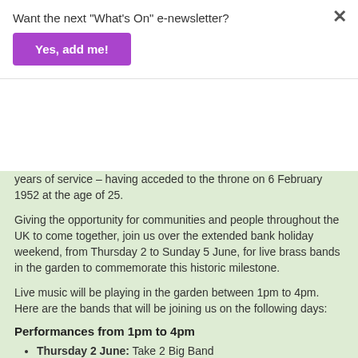Want the next "What's On" e-newsletter?
Yes, add me!
years of service – having acceded to the throne on 6 February 1952 at the age of 25.
Giving the opportunity for communities and people throughout the UK to come together, join us over the extended bank holiday weekend, from Thursday 2 to Sunday 5 June, for live brass bands in the garden to commemorate this historic milestone.
Live music will be playing in the garden between 1pm to 4pm. Here are the bands that will be joining us on the following days:
Performances from 1pm to 4pm
Thursday 2 June: Take 2 Big Band
Friday 3 June: New Horizons Dance Band
Saturday 4 June: Barnsley Brass
Sunday 5 June: Chris Irvin Concert Orchestra